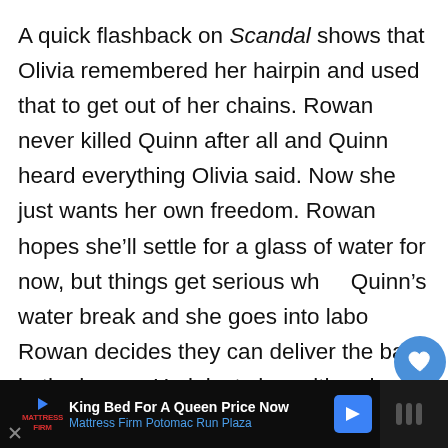A quick flashback on Scandal shows that Olivia remembered her hairpin and used that to get out of her chains. Rowan never killed Quinn after all and Quinn heard everything Olivia said. Now she just wants her own freedom. Rowan hopes she'll settle for a glass of water for now, but things get serious wh Quinn's water break and she goes into labo Rowan decides they can deliver the baby i the house. He injects her with a dru Marv to help deliver baby.
WHAT'S NEXT → All About The Cast of...
King Bed For A Queen Price Now
Mattress Firm Potomac Run Plaza